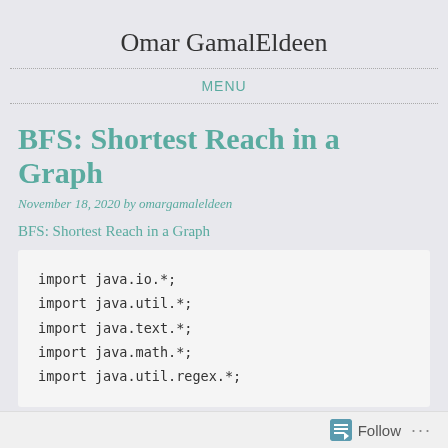Omar GamalEldeen
MENU
BFS: Shortest Reach in a Graph
November 18, 2020 by omargamaleldeen
BFS: Shortest Reach in a Graph
import java.io.*;
import java.util.*;
import java.text.*;
import java.math.*;
import java.util.regex.*;
Follow ...